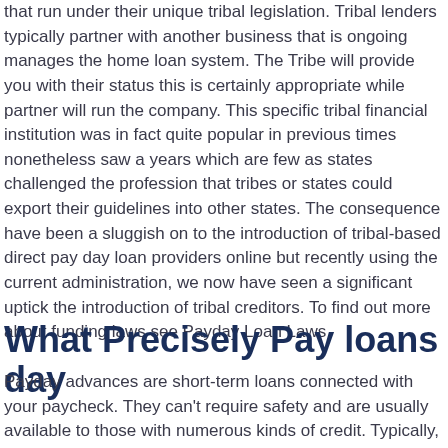that run under their unique tribal legislation. Tribal lenders typically partner with another business that is ongoing manages the home loan system. The Tribe will provide you with their status this is certainly appropriate while partner will run the company. This specific tribal financial institution was in fact quite popular in previous times nonetheless saw a years which are few as states challenged the profession that tribes or states could export their guidelines into other states. The consequence have been a sluggish on to the introduction of tribal-based direct pay day loan providers online but recently using the current administration, we now have seen a significant uptick the introduction of tribal creditors. To find out more about funding laws see Payday Loan Laws
What Precisely Pay loans day
Payday advances are short-term loans connected with your paycheck. They can't require safety and are usually available to those with numerous kinds of credit. Typically, direct